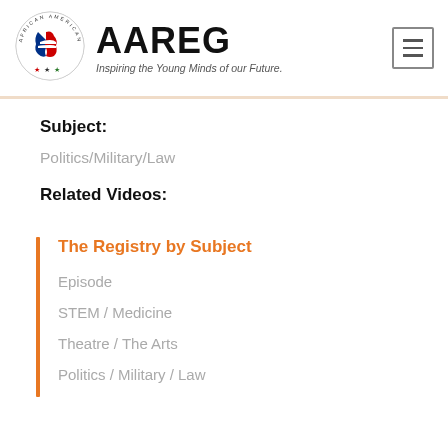[Figure (logo): African American Registry circular logo with Africa continent in red, white and blue with stars, surrounded by circular text reading AFRICAN AMERICAN REGISTRY]
AAREG
Inspiring the Young Minds of our Future.
Subject:
Politics/Military/Law
Related Videos:
The Registry by Subject
Episode
STEM / Medicine
Theatre / The Arts
Politics / Military / Law